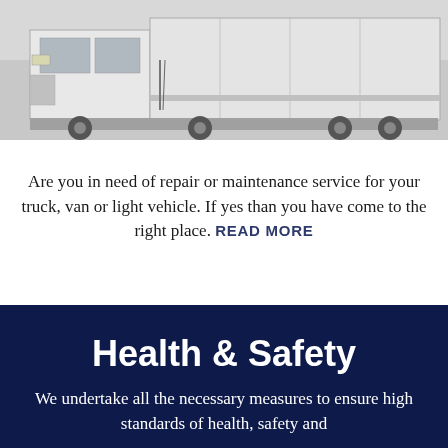[Figure (photo): Black and white photograph of a commercial truck/van with a large box body, viewed from the side and slightly angled.]
Are you in need of repair or maintenance service for your truck, van or light vehicle. If yes than you have come to the right place. READ MORE
Health & Safety
We undertake all the necessary measures to ensure high standards of health, safety and